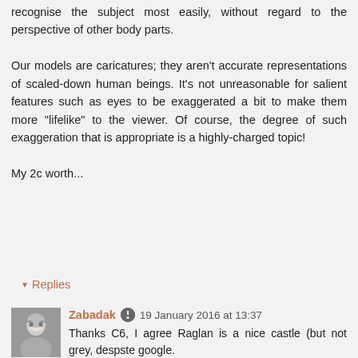recognise the subject most easily, without regard to the perspective of other body parts.

Our models are caricatures; they aren't accurate representations of scaled-down human beings. It's not unreasonable for salient features such as eyes to be exaggerated a bit to make them more "lifelike" to the viewer. Of course, the degree of such exaggeration that is appropriate is a highly-charged topic!

My 2c worth...
Reply
▾ Replies
Zabadak 19 January 2016 at 13:37
Thanks C6, I agree Raglan is a nice castle (but not grey, despste google.
I think in your school of thought too as I look upon figures as a step up from cardboard counters and I've wargamed (not boardgames)with both painted figures are just...